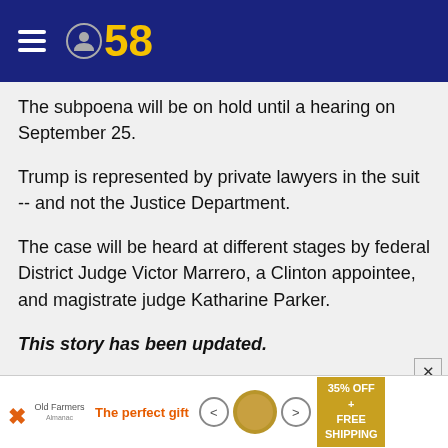[Figure (logo): CBS 58 logo with hamburger menu icon on dark blue header bar]
The subpoena will be on hold until a hearing on September 25.
Trump is represented by private lawyers in the suit -- and not the Justice Department.
The case will be heard at different stages by federal District Judge Victor Marrero, a Clinton appointee, and magistrate judge Katharine Parker.
This story has been updated.
The-CNN-Wire™ & © 2018 Cable News Network, Inc., a Time Warner Company. All rights reserved.
[Figure (other): Advertisement banner: The perfect gift with food product image and 35% OFF FREE SHIPPING badge]